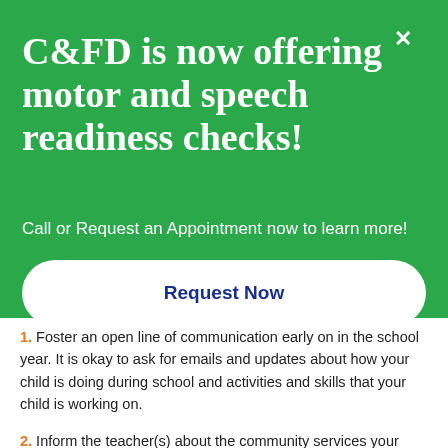C&FD is now offering motor and speech readiness checks!
Call or Request an Appointment now to learn more!
Request Now
1. Foster an open line of communication early on in the school year. It is okay to ask for emails and updates about how your child is doing during school and activities and skills that your child is working on.
2. Inform the teacher(s) about the community services your